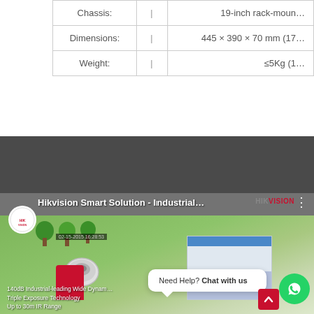| Property |  | Value |
| --- | --- | --- |
| Chassis: | | | 19-inch rack-moun… |
| Dimensions: | | | 445 × 390 × 70 mm (17… |
| Weight: | | | ≤5Kg (1… |
[Figure (screenshot): Hikvision Smart Solution - Industrial... video thumbnail showing a 3D rendered industrial facility with dome camera, trees, buildings with blue roof, overlaid with a WhatsApp 'Need Help? Chat with us' popup, HIKVISION watermark top right, camera footage caption text at bottom left.]